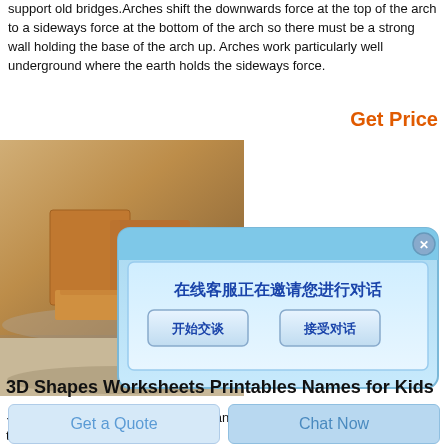support old bridges.Arches shift the downwards force at the top of the arch to a sideways force at the bottom of the arch so there must be a strong wall holding the base of the arch up. Arches work particularly well underground where the earth holds the sideways force.
Get Price
[Figure (screenshot): Photo of stacked cracker/biscuit pieces on a plate, overlaid with a Chinese-language chat popup dialog reading '在线客服正在邀请您进行对话' with buttons '开始交谈' and '接受对话' and a close button.]
3D Shapes Worksheets Printables Names for Kids
3D Shape printables in plain Black and White and with Gradient effects too. A
Get a Quote
Chat Now